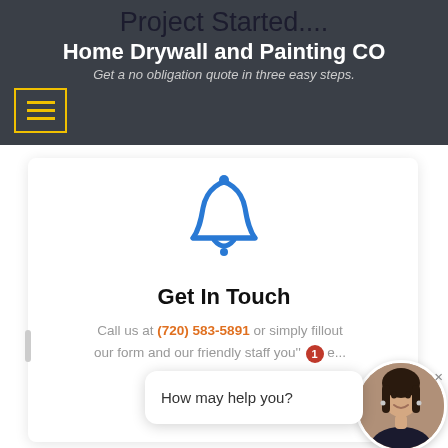Project Started....
Home Drywall and Painting CO
Get a no obligation quote in three easy steps.
[Figure (illustration): Hamburger menu button with yellow border and three yellow horizontal lines]
[Figure (illustration): Blue bell notification icon]
Get In Touch
Call us at (720) 583-5891 or simply fillout our form and our friendly staff you''ll e...
How may help you?
[Figure (photo): Woman with dark hair smiling, circular avatar in chat widget]